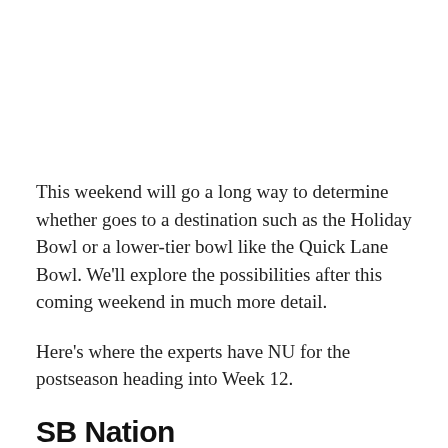This weekend will go a long way to determine whether goes to a destination such as the Holiday Bowl or a lower-tier bowl like the Quick Lane Bowl. We'll explore the possibilities after this coming weekend in much more detail.
Here's where the experts have NU for the postseason heading into Week 12.
SB Nation
Jason Kirk: Heart of Dallas Bowl vs. Western